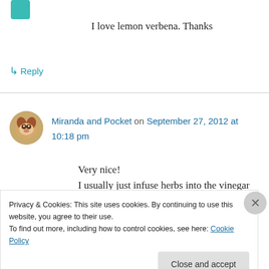I love lemon verbena. Thanks
↳ Reply
Miranda and Pocket on September 27, 2012 at 10:18 pm
Very nice!
I usually just infuse herbs into the vinegar and use it straight. my husband dilutes it with half infused vinegar, 1/4 sal suds and 1/4 water to
Privacy & Cookies: This site uses cookies. By continuing to use this website, you agree to their use.
To find out more, including how to control cookies, see here: Cookie Policy
Close and accept